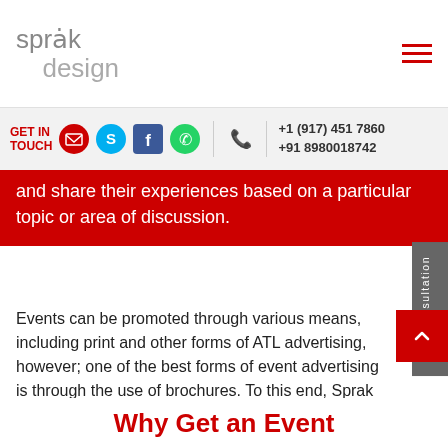sprak design
GET IN TOUCH +1 (917) 451 7860 +91 8980018742
and share their experiences based on a particular topic or area of discussion.
Events can be promoted through various means, including print and other forms of ATL advertising, however; one of the best forms of event advertising is through the use of brochures. To this end, Sprak Design allows event management organizations ge the very best in event brochure design service, catering to their exact requirements.
Why Get an Event